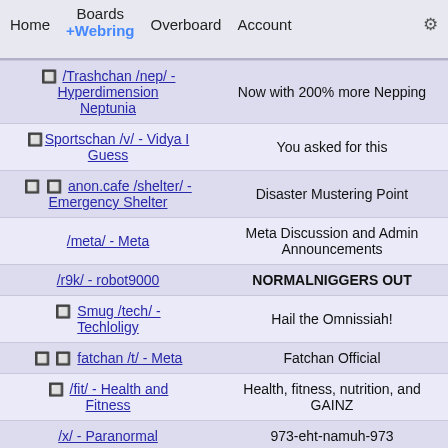Home  Boards +Webring  Overboard  Account  ⚙
| Board | Description |
| --- | --- |
| 🔲 Trashchan /nep/ - Hyperdimension Neptunia | Now with 200% more Nepping |
| 🔲Sportschan /v/ - Vidya I Guess | You asked for this |
| 🔲 🔲 anon.cafe /shelter/ - Emergency Shelter | Disaster Mustering Point |
| /meta/ - Meta | Meta Discussion and Admin Announcements |
| /r9k/ - robot9000 | NORMALNIGGERS OUT |
| 🔲 Smug /tech/ - Techloligy | Hail the Omnissiah! |
| 🔲 🔲 fatchan /t/ - Meta | Fatchan Official |
| 🔲 /fit/ - Health and Fitness | Health, fitness, nutrition, and GAINZ |
| /x/ - Paranormal | 973-eht-namuh-973 |
| 🔲anon.cafe /lego/ - Lego Central | Just Imagine... |
| /vhs/ - Movies | Film and Cinema |